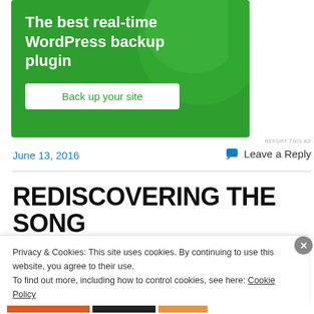[Figure (screenshot): Green advertisement banner for a WordPress backup plugin. Contains bold white text 'The best real-time WordPress backup plugin' and a white button 'Back up your site'.]
REPORT THIS AD
June 13, 2016
💬 Leave a Reply
REDISCOVERING THE SONG
Privacy & Cookies: This site uses cookies. By continuing to use this website, you agree to their use.
To find out more, including how to control cookies, see here: Cookie Policy
Close and accept